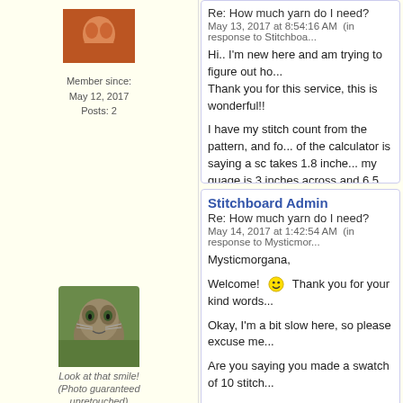[Figure (photo): Avatar image of a person (partial, shows chin/neck area with orange/red tones)]
Member since:
May 12, 2017
Posts: 2
Re: How much yarn do I need?
May 13, 2017 at 8:54:16 AM  (in response to Stitchboard...
Hi.. I'm new here and am trying to figure out how to use this calculator. Thank you for this service, this is wonderful!!
I have my stitch count from the pattern, and for the gauge, the top of the calculator is saying a sc takes 1.8 inches, but my guage is 3 inches across and 6.5 inches ta...
According to the calculator.. taking that 1 stitch...
I'm confused!! lol
[Figure (photo): Avatar photo of a cat (tabby cat, gray/brown, looking at camera, on grass background)]
Look at that smile!
(Photo guaranteed unretouched)
Member since:
Jul 1, 2009
Posts: 4525
Stitchboard Admin
Re: How much yarn do I need?
May 14, 2017 at 1:42:54 AM  (in response to Mysticmor...
Mysticmorgana,
Welcome! :) Thank you for your kind words...
Okay, I'm a bit slow here, so please excuse me...
Are you saying you made a swatch of 10 stitch...
The proper way to do a gauge swatch is to ma... of a gauge swatch that is much too small, unfo... don't like swatching, you're not alone!